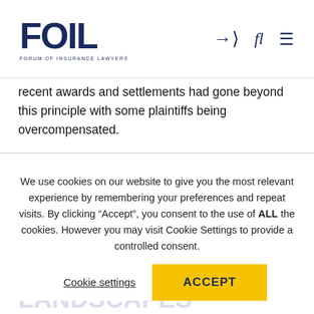[Figure (logo): FOIL - Forum of Insurance Lawyers logo with bold dark blue text]
recent awards and settlements had gone beyond this principle with some plaintiffs being overcompensated.
We use cookies on our website to give you the most relevant experience by remembering your preferences and repeat visits. By clicking “Accept”, you consent to the use of ALL the cookies. However you may visit Cookie Settings to provide a controlled consent.
Cookie settings
ACCEPT
FOIL IRELAND LEARNING EVENT FEATURING CLAIMS AND COSTS LANDSCAPES